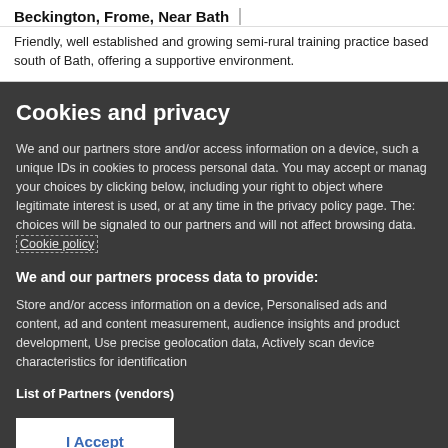Beckington, Frome, Near Bath
Friendly, well established and growing semi-rural training practice based south of Bath, offering a supportive environment.
Cookies and privacy
We and our partners store and/or access information on a device, such as unique IDs in cookies to process personal data. You may accept or manage your choices by clicking below, including your right to object where legitimate interest is used, or at any time in the privacy policy page. These choices will be signaled to our partners and will not affect browsing data. Cookie policy
We and our partners process data to provide:
Store and/or access information on a device, Personalised ads and content, ad and content measurement, audience insights and product development, Use precise geolocation data, Actively scan device characteristics for identification
List of Partners (vendors)
I Accept